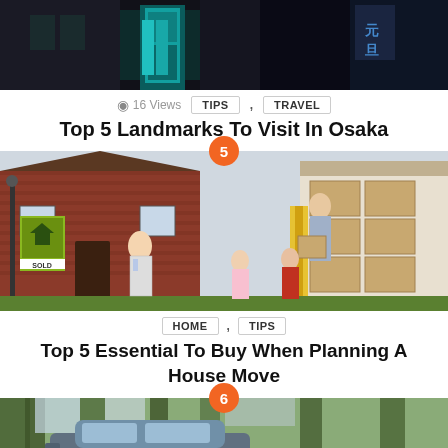[Figure (photo): Dark street scene in Osaka with teal/turquoise storefront doors and Japanese signage]
👁 16 Views   TIPS , TRAVEL
Top 5 Landmarks To Visit In Osaka
[Figure (photo): Family moving house scene: woman holding baby, man handing boxes from moving truck, two children, brick house with SOLD sign in yard]
HOME , TIPS
Top 5 Essential To Buy When Planning A House Move
[Figure (photo): Car in a wooded area, partial view showing front of vehicle through trees]